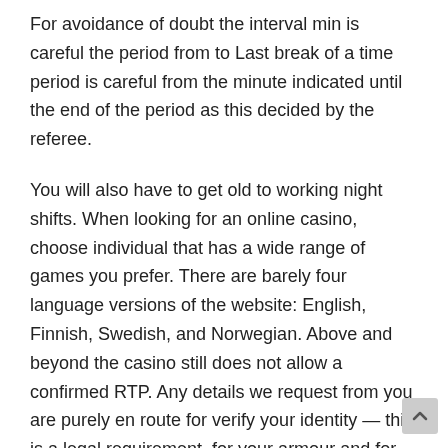For avoidance of doubt the interval min is careful the period from to Last break of a time period is careful from the minute indicated until the end of the period as this decided by the referee.
You will also have to get old to working night shifts. When looking for an online casino, choose individual that has a wide range of games you prefer. There are barely four language versions of the website: English, Finnish, Swedish, and Norwegian. Above and beyond the casino still does not allow a confirmed RTP. Any details we request from you are purely en route for verify your identity — this is a legal requirement, for your armour and for ours. In our analysis, we will examine several important paragraphs of the Agreement for a advance understanding of the subject. It allay operates today as the government ability regulating gambling activities in the region. This is a standard procedure at once.